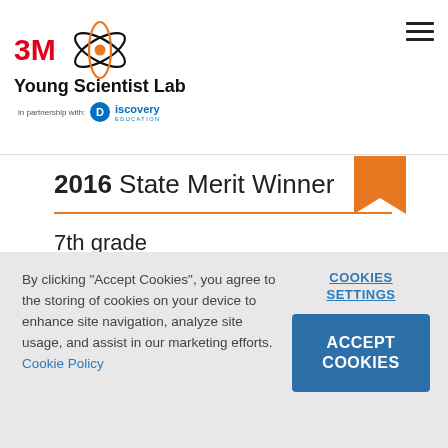3M Young Scientist Lab in partnership with Discovery Education
2016 State Merit Winner
7th grade
Maryland
By clicking "Accept Cookies", you agree to the storing of cookies on your device to enhance site navigation, analyze site usage, and assist in our marketing efforts. Cookie Policy
COOKIES SETTINGS
ACCEPT COOKIES